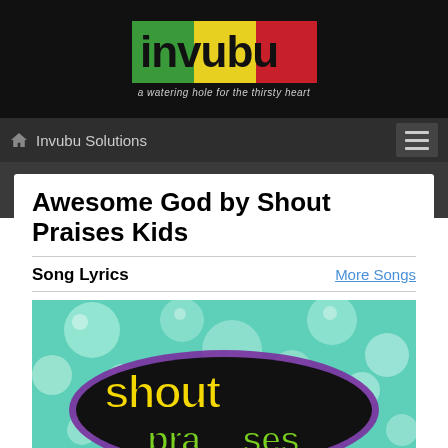[Figure (logo): Invubu logo with colorful block letters on green, yellow, and red background squares, with tagline 'a watering hole for the thirsty heart']
Invubu Solutions
Awesome God by Shout Praises Kids
Song Lyrics
[Figure (illustration): Colorful children's album art for Shout Praises Kids with bubble designs and bold yellow/black text on teal background]